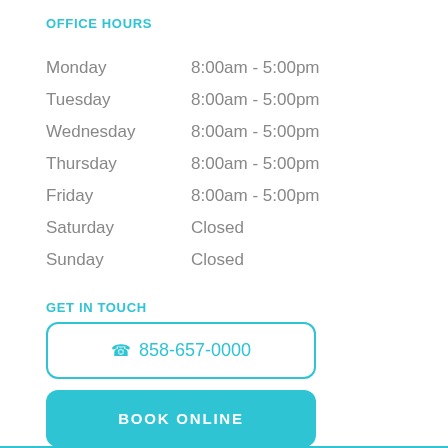OFFICE HOURS
Monday  8:00am - 5:00pm
Tuesday  8:00am - 5:00pm
Wednesday  8:00am - 5:00pm
Thursday  8:00am - 5:00pm
Friday  8:00am - 5:00pm
Saturday  Closed
Sunday  Closed
GET IN TOUCH
858-657-0000
BOOK ONLINE